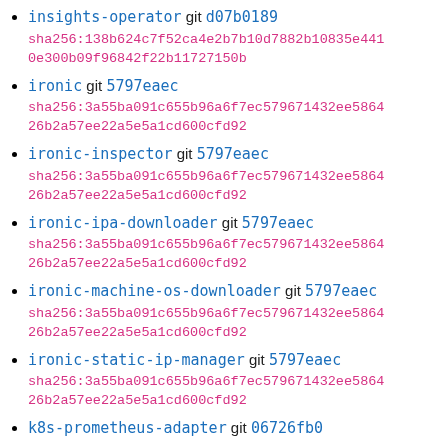insights-operator git d07b0189 sha256:138b624c7f52ca4e2b7b10d7882b10835e4410e300b09f96842f22b11727150b
ironic git 5797eaec sha256:3a55ba091c655b96a6f7ec579671432ee586426b2a57ee22a5e5a1cd600cfd92
ironic-inspector git 5797eaec sha256:3a55ba091c655b96a6f7ec579671432ee586426b2a57ee22a5e5a1cd600cfd92
ironic-ipa-downloader git 5797eaec sha256:3a55ba091c655b96a6f7ec579671432ee586426b2a57ee22a5e5a1cd600cfd92
ironic-machine-os-downloader git 5797eaec sha256:3a55ba091c655b96a6f7ec579671432ee586426b2a57ee22a5e5a1cd600cfd92
ironic-static-ip-manager git 5797eaec sha256:3a55ba091c655b96a6f7ec579671432ee586426b2a57ee22a5e5a1cd600cfd92
k8s-prometheus-adapter git 06726fb0